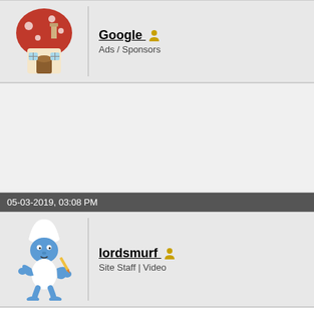[Figure (illustration): Smurf mushroom house avatar for Google / Ads Sponsors user]
Google
Ads / Sponsors
[Figure (illustration): Ad area placeholder (blank grey box)]
05-03-2019, 03:08 PM
[Figure (illustration): Smurf character avatar for lordsmurf user]
lordsmurf
Site Staff | Video
For filtering, yes? It depends on what's being run. Details needed. 🙂
- Did my advice help you? Then become a Premium Member and support this site.
- For sale in the marketplace: TBCs, workflows, capture cards, VCRs